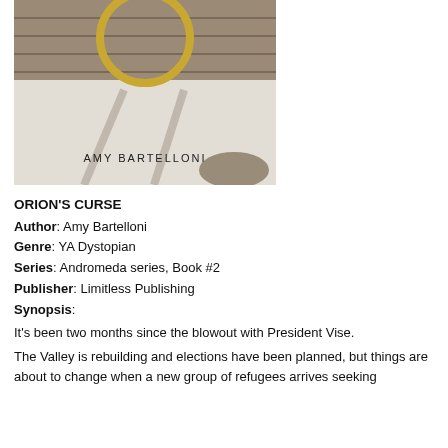[Figure (illustration): Book cover for Orion's Curse by Amy Bartelloni. Shows a winter snowy scene with wooden structures and a gold ring/circle element. Author name AMY BARTELLONI printed at bottom of cover.]
ORION'S CURSE
Author: Amy Bartelloni
Genre: YA Dystopian
Series: Andromeda series, Book #2
Publisher: Limitless Publishing
Synopsis:
It's been two months since the blowout with President Vise.
The Valley is rebuilding and elections have been planned, but things are about to change when a new group of refugees arrives seeking